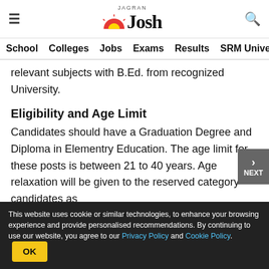Jagran Josh — School  Colleges  Jobs  Exams  Results  SRM University
relevant subjects with B.Ed. from recognized University.
Eligibility and Age Limit
Candidates should have a Graduation Degree and Diploma in Elementry Education. The age limit for these posts is between 21 to 40 years. Age relaxation will be given to the reserved category candidates as
[Figure (other): Advertisement: Camp Lejeune Families Finally Eligible for Compensation — camplejeunelawsuitsettlement.c]
This website uses cookie or similar technologies, to enhance your browsing experience and provide personalised recommendations. By continuing to use our website, you agree to our Privacy Policy and Cookie Policy.  OK